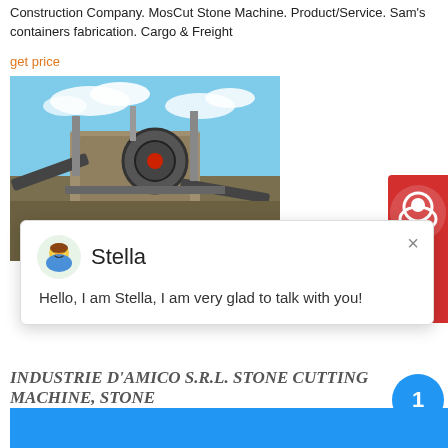Construction Company. MosCut Stone Machine. Product/Service. Sam's containers fabrication. Cargo & Freight
get price
[Figure (photo): Industrial stone cutting machine with conveyors and large mechanical components against a blue sky with clouds]
[Figure (screenshot): Chat widget popup with avatar of Stella with text: Hello, I am Stella, I am very glad to talk with you!]
INDUSTRIE D'AMICO S.R.L. STONE CUTTING MACHINE, STONE
Industrie D'Amico produces machines that cut only in vertical, only in horizontal and combined machines that cutting at the same time in vertical and in horizontal. Industrie D'Amico S.r.l. stone cutting machine, stone quarrying machine
get price